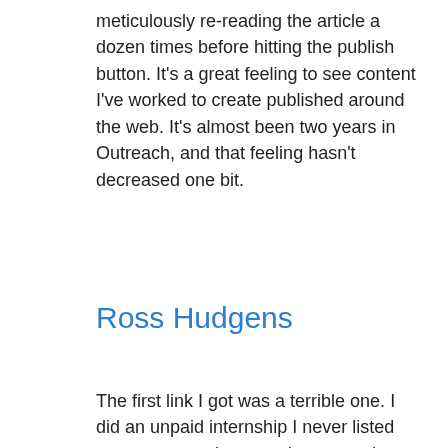meticulously re-reading the article a dozen times before hitting the publish button. It's a great feeling to see content I've worked to create published around the web. It's almost been two years in Outreach, and that feeling hasn't decreased one bit.
Ross Hudgens
The first link I got was a terrible one. I did an unpaid internship I never listed on my resume because it was so short, but we basically learned how to do link wheels, register on forums, and then point them back at the company's client and their web 2.0 ages. It was painful, the forum links were bad, but I learned what a link wheel was. More importantly, after 2 weeks on that job, I was able to use it on my resume to get a part time position and never build a forum link like that again.